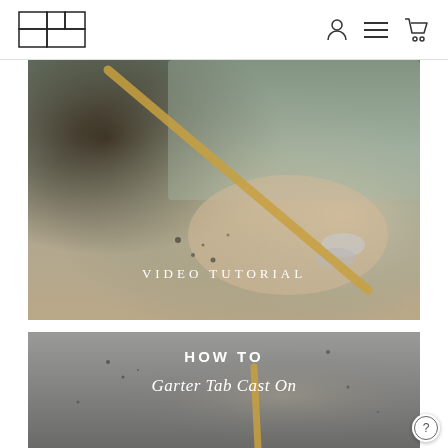Navigation header with logo and icons
[Figure (photo): Close-up photo of hands holding a wooden knitting needle against a textured knitted fabric, with text overlay 'VIDEO TUTORIAL']
[Figure (photo): Photo of a knitting needle on a textured concrete surface, with text overlay 'HOW TO' and 'Garter Tab Cast On']